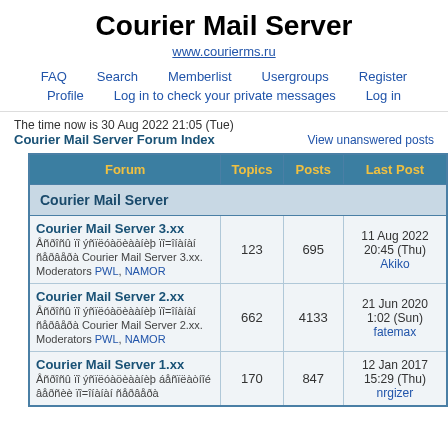Courier Mail Server
www.courierms.ru
FAQ   Search   Memberlist   Usergroups   Register
Profile   Log in to check your private messages   Log in
The time now is 30 Aug 2022 21:05 (Tue)
Courier Mail Server Forum Index
View unanswered posts
| Forum | Topics | Posts | Last Post |
| --- | --- | --- | --- |
| Courier Mail Server |  |  |  |
| Courier Mail Server 3.xx
Âñðîñû ïî ýñïëóàöèààíèþ ïî=îíàíàí ñåðâåðà Courier Mail Server 3.xx. Moderators PWL, NAMOR | 123 | 695 | 11 Aug 2022 20:45 (Thu)
Akiko |
| Courier Mail Server 2.xx
Âñðîñû ïî ýñïëóàöèààíèþ ïî=îíàíàí ñåðâåðà Courier Mail Server 2.xx. Moderators PWL, NAMOR | 662 | 4133 | 21 Jun 2020 1:02 (Sun)
fatemax |
| Courier Mail Server 1.xx
Âñðîñû ïî ýñïëóàöèààíèþ áåñïëàòíîé âåðñèè ïî=îíàíàí ñåðâåðà | 170 | 847 | 12 Jan 2017 15:29 (Thu)
nrgizer |